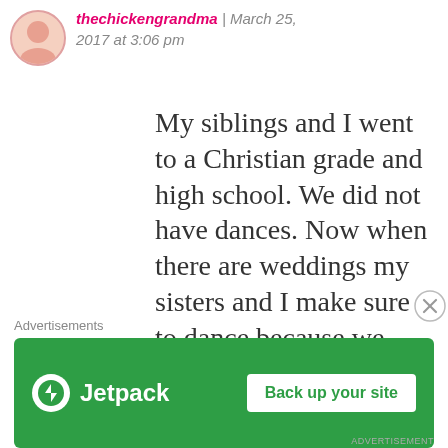thechickengrandma | March 25, 2017 at 3:06 pm
My siblings and I went to a Christian grade and high school. We did not have dances. Now when there are weddings my sisters and I make sure to dance because we feel like
Advertisements
[Figure (screenshot): Jetpack advertisement banner with logo and 'Back up your site' button on green background]